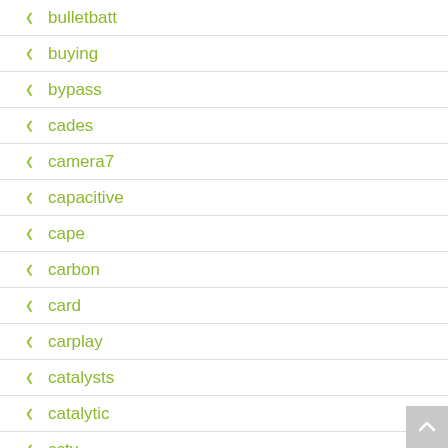bulletbatt
buying
bypass
cades
camera7
capacitive
cape
carbon
card
carplay
catalysts
catalytic
cctv
centre